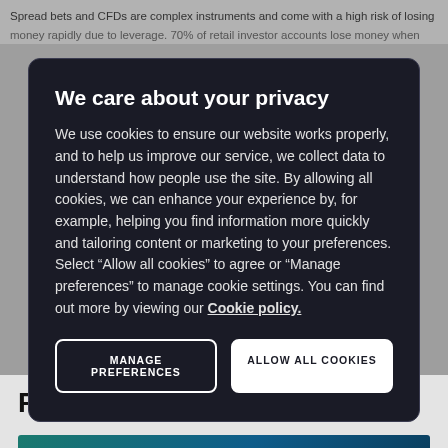Spread bets and CFDs are complex instruments and come with a high risk of losing
We care about your privacy
We use cookies to ensure our website works properly, and to help us improve our service, we collect data to understand how people use the site. By allowing all cookies, we can enhance your experience by, for example, helping you find information more quickly and tailoring content or marketing to your preferences. Select “Allow all cookies” to agree or “Manage preferences” to manage cookie settings. You can find out more by viewing our Cookie policy.
MANAGE PREFERENCES
ALLOW ALL COOKIES
Related articles
[Figure (photo): Financial chart / world map image for a related article]